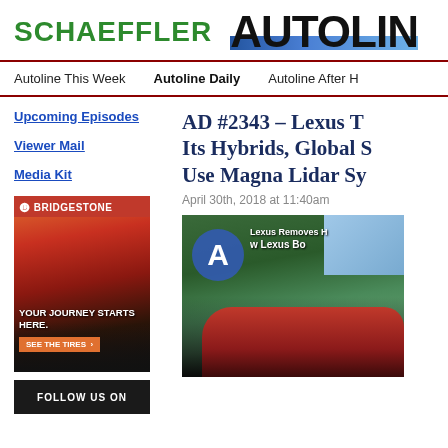SCHAEFFLER | AUTOLINE
Autoline This Week
Autoline Daily
Autoline After H
Upcoming Episodes
Viewer Mail
Media Kit
[Figure (photo): Bridgestone advertisement showing red sports car with text YOUR JOURNEY STARTS HERE. SEE THE TIRES]
[Figure (screenshot): FOLLOW US ON social media bar]
AD #2343 – Lexus T Its Hybrids, Global S Use Magna Lidar Sy
April 30th, 2018 at 11:40am
[Figure (photo): Video thumbnail showing Lexus Removes / Lexus DC headline with red Lexus SUV in outdoor setting]